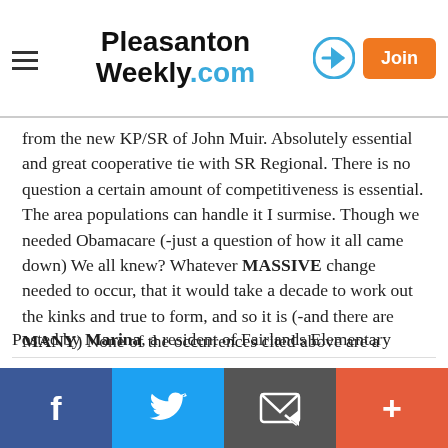Pleasanton Weekly.com
from the new KP/SR of John Muir. Absolutely essential and great cooperative tie with SR Regional. There is no question a certain amount of competitiveness is essential. The area populations can handle it I surmise. Though we needed Obamacare (-just a question of how it all came down) We all knew? Whatever MASSIVE change needed to occur, that it would take a decade to work out the kinks and true to form, and so it is (-and there are MANY) None of the occurrences cited above are a surprise or unexpected. At least? By some of us...
Report Objectionable Content
Posted by Marina, a resident of Fairlands Elementary